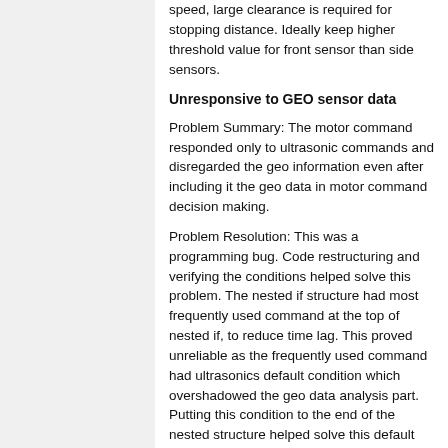speed, large clearance is required for stopping distance. Ideally keep higher threshold value for front sensor than side sensors.
Unresponsive to GEO sensor data
Problem Summary: The motor command responded only to ultrasonic commands and disregarded the geo information even after including it the geo data in motor command decision making.
Problem Resolution: This was a programming bug. Code restructuring and verifying the conditions helped solve this problem. The nested if structure had most frequently used command at the top of nested if, to reduce time lag. This proved unreliable as the frequently used command had ultrasonics default condition which overshadowed the geo data analysis part. Putting this condition to the end of the nested structure helped solve this default behaviour taking precedence everytime. Geo data had same conditions for stop and no data received from geo sensors. Hence the car stopped when no geo data was received.